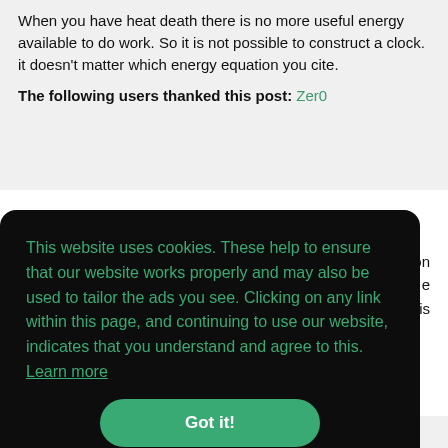When you have heat death there is no more useful energy available to do work. So it is not possible to construct a clock. it doesn't matter which energy equation you cite.
The following users thanked this post: Zer0
This website uses cookies. These help to ensure that our website works properly and may also be used to tailor the ads you see. Clicking on any link within this page, and continuing to use our website, indicates that you understand and agree to this. Learn more
Got it!
black hole. Information is no longer available to